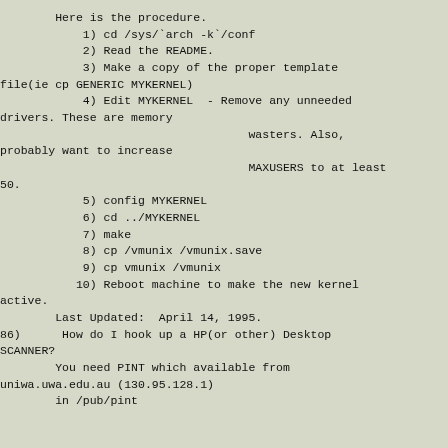Here is the procedure.
1) cd /sys/`arch -k`/conf
2) Read the README.
3) Make a copy of the proper template file(ie cp GENERIC MYKERNEL)
4) Edit MYKERNEL  - Remove any unneeded drivers. These are memory wasters. Also, probably want to increase MAXUSERS to at least 50.
5) config MYKERNEL
6) cd ../MYKERNEL
7) make
8) cp /vmunix /vmunix.save
9) cp vmunix /vmunix
10) Reboot machine to make the new kernel active.
Last Updated:  April 14, 1995.
86)      How do I hook up a HP(or other) Desktop SCANNER?
You need PINT which available from uniwa.uwa.edu.au (130.95.128.1)
        in /pub/pint